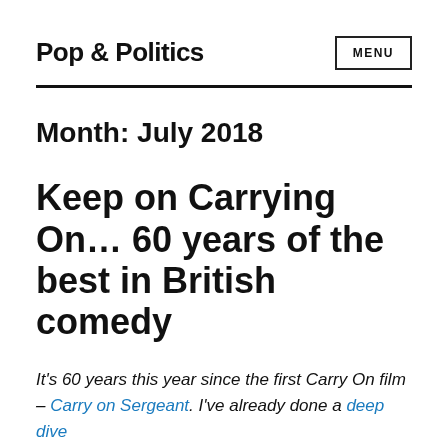Pop & Politics
Month: July 2018
Keep on Carrying On… 60 years of the best in British comedy
It's 60 years this year since the first Carry On film – Carry on Sergeant. I've already done a deep dive